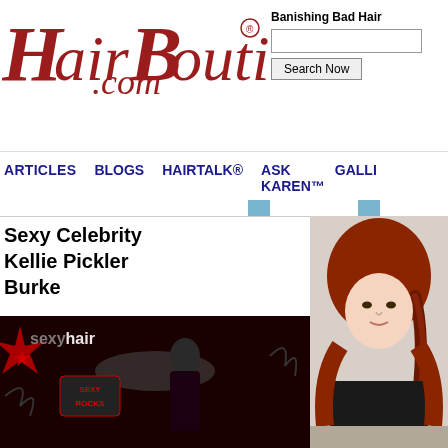HairBoutique.com
Banishing Bad Hair
ARTICLES  BLOGS  HAIRTALK®  ASK KAREN™  GALLI
Sexy Celebrity Kellie Pickler Burke
[Figure (photo): Sexy hair promotional image with woman in red and black outfit]
[Figure (photo): Young woman with long auburn/red braided hair]
[Figure (photo): Back of head showing hair loss / alopecia]
M... ing Fast Do?
Hair Diseases
[Figure (photo): Woman with a brown bob haircut]
[Figure (photo): Blonde woman with decorative hair accessories]